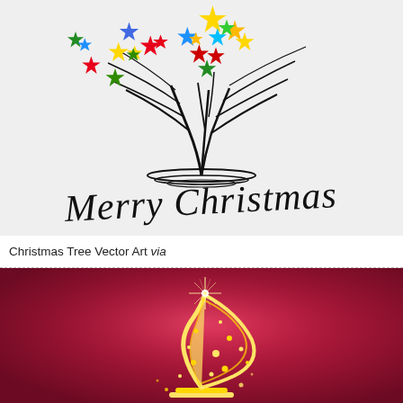[Figure (illustration): Abstract Christmas tree vector art on light gray background: stylized black curved branches spreading upward with colorful stars (gold, red, green, blue) decorating the tips, and cursive 'Merry Christmas' text below in black script font.]
Christmas Tree Vector Art via
[Figure (illustration): Abstract Christmas tree illustration on a deep magenta/crimson gradient background: a swirling golden-yellow stylized tree shape with a bright star at the top and scattered golden dots/sparkles around it.]